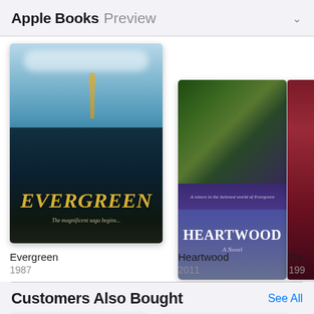Apple Books Preview
[Figure (photo): Book cover of Evergreen showing Statue of Liberty, teal sky, and golden EVERGREEN title text with subtitle 'The magnificent saga begins...']
Evergreen
1987
[Figure (photo): Book cover of Heartwood with purple/blue tones, subtitle 'A return in the beloved world of Evergreen', title HEARTWOOD A Novel]
Heartwood
2011
[Figure (photo): Partial book cover (cropped), dark red/maroon color, title starts with 'Da', year 199x]
Da
199
Customers Also Bought
See All
[Figure (photo): Gold/tan colored book cover - New York Times Bestseller Maeve Binchy book]
[Figure (photo): White book cover - A New York Times Bestseller Maeve Binchy book with quote from Seattle Times]